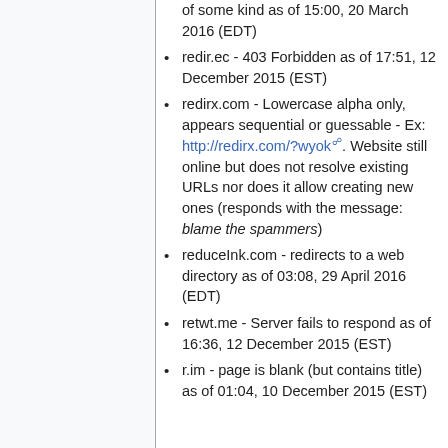of some kind as of 15:00, 20 March 2016 (EDT)
redir.ec - 403 Forbidden as of 17:51, 12 December 2015 (EST)
redirx.com - Lowercase alpha only, appears sequential or guessable - Ex: http://redirx.com/?wyok. Website still online but does not resolve existing URLs nor does it allow creating new ones (responds with the message: blame the spammers)
reduceInk.com - redirects to a web directory as of 03:08, 29 April 2016 (EDT)
retwt.me - Server fails to respond as of 16:36, 12 December 2015 (EST)
r.im - page is blank (but contains title) as of 01:04, 10 December 2015 (EST)